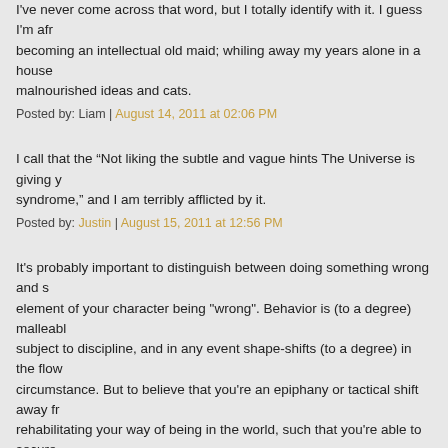I've never come across that word, but I totally identify with it. I guess I'm afraid of becoming an intellectual old maid; whiling away my years alone in a house full of malnourished ideas and cats.
Posted by: Liam | August 14, 2011 at 02:06 PM
I call that the “Not liking the subtle and vague hints The Universe is giving you syndrome,” and I am terribly afflicted by it.
Posted by: Justin | August 15, 2011 at 12:56 PM
It's probably important to distinguish between doing something wrong and some element of your character being "wrong". Behavior is (to a degree) malleable and subject to discipline, and in any event shape-shifts (to a degree) in the flow of circumstance. But to believe that you're an epiphany or tactical shift away from rehabilitating your way of being in the world, such that you're able to secure "success (broadly defined)", is to chase windmills.
Your anxiety's allegiance is to itself, not to an objective assessment of reality. In other words, the part of you that worries over things like this isn't going away no matter how many "wrong" behaviors you identify and correct, and no matter how successful you become. Your wiring is your wiring.
Posted by: Matt | August 15, 2011 at 07:32 PM